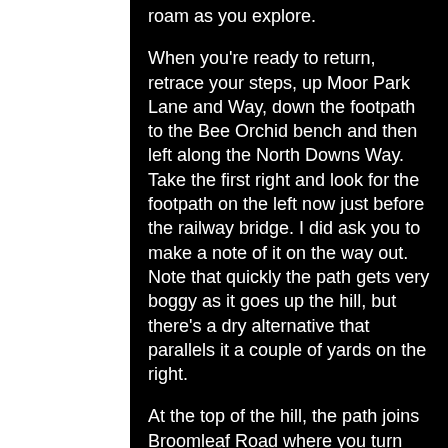There's plenty of room to wander and roam as you explore.
When you're ready to return, retrace your steps, up Moor Park Lane and Way, down the footpath to the Bee Orchid bench and then left along the North Downs Way. Take the first right and look for the footpath on the left now just before the railway bridge. I did ask you to make a note of it on the way out. Note that quickly the path gets very boggy as it goes up the hill, but there's a dry alternative that parallels it a couple of yards on the right.
At the top of the hill, the path joins Broomleaf Road where you turn right. Now it's easy. Follow Broomleaf to the